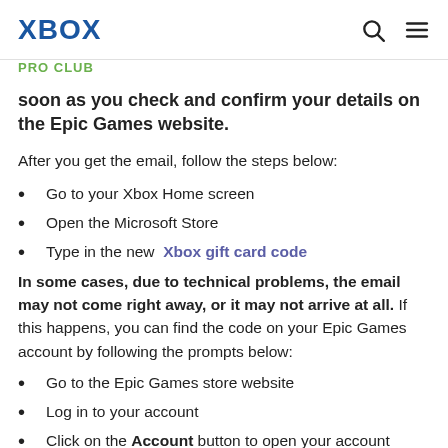XBOX | PRO CLUB
soon as you check and confirm your details on the Epic Games website.
After you get the email, follow the steps below:
Go to your Xbox Home screen
Open the Microsoft Store
Type in the new Xbox gift card code
In some cases, due to technical problems, the email may not come right away, or it may not arrive at all. If this happens, you can find the code on your Epic Games account by following the prompts below:
Go to the Epic Games store website
Log in to your account
Click on the Account button to open your account